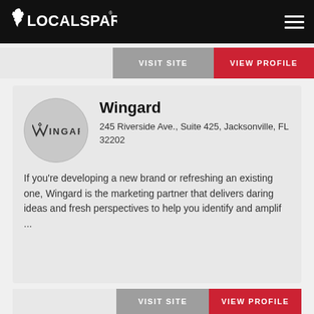LocalSpark
VISIT SITE  VIEW PROFILE
[Figure (logo): Wingard company logo — circular grey badge with WINGARD text]
Wingard
245 Riverside Ave., Suite 425, Jacksonville, FL 32202
If you’re developing a new brand or refreshing an existing one, Wingard is the marketing partner that delivers daring ideas and fresh perspectives to help you identify and amplif ...
VISIT SITE  VIEW PROFILE